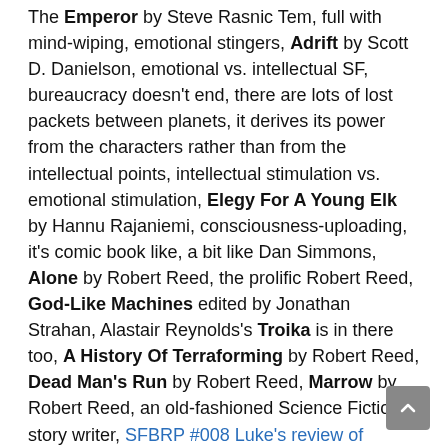The Emperor by Steve Rasnic Tem, full with mind-wiping, emotional stingers, Adrift by Scott D. Danielson, emotional vs. intellectual SF, bureaucracy doesn't end, there are lots of lost packets between planets, it derives its power from the characters rather than from the intellectual points, intellectual stimulation vs. emotional stimulation, Elegy For A Young Elk by Hannu Rajaniemi, consciousness-uploading, it's comic book like, a bit like Dan Simmons, Alone by Robert Reed, the prolific Robert Reed, God-Like Machines edited by Jonathan Strahan, Alastair Reynolds's Troika is in there too, A History Of Terraforming by Robert Reed, Dead Man's Run by Robert Reed, Marrow by Robert Reed, an old-fashioned Science Fiction story writer, SFBRP #008 Luke's review of Marrow, Isaac Asimov, Ray Bradbury, Starship Vectors edited by Allan Kaster, SFSignal's review of Starship Vectors, The Shipmaker by Alliette de Bodard, The Ship Who Sang by Anne McCaffrey, mutant children are shipped off into the universe to fall in love with their crews.